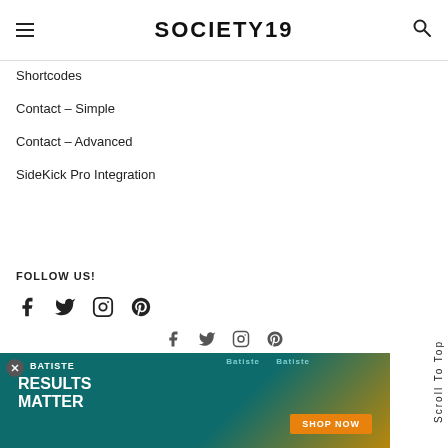SOCIETY19
Shortcodes
Contact – Simple
Contact – Advanced
SideKick Pro Integration
FOLLOW US!
[Figure (other): Social media icons: Facebook, Twitter, Instagram, Pinterest]
[Figure (other): Batiste advertisement banner: Results Matter, Shop Now]
Scroll To Top